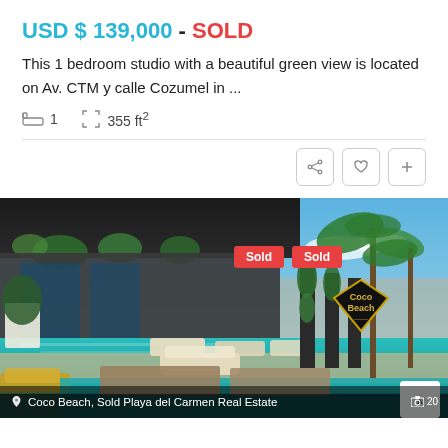USD $ 139,000 - SOLD
This 1 bedroom studio with a beautiful green view is located on Av. CTM y calle Cozumel in ...
1  355 ft²
[Figure (photo): Luxury rooftop pool area with lounge chairs, palm trees, and modern architecture. Two orange 'Sold' badges and a Coco Beach diamond logo visible. Location tag reads 'Coco Beach, Sold Playa del Carmen Real Estate'.]